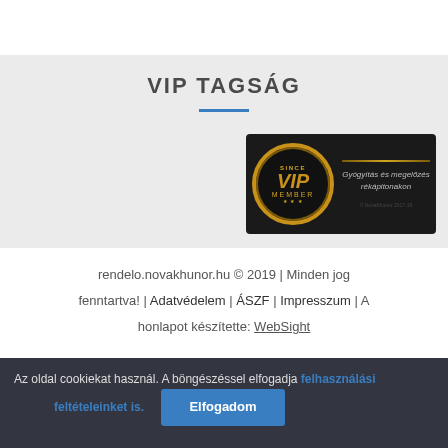VIP TAGSÁG
[Figure (illustration): VIP MEMBER card image with gold circle badge on dark background with text 'Gyógyítás és megelőzés közlekedésben']
rendelo.novakhunor.hu © 2019 | Minden jog fenntartva! | Adatvédelem | ÁSZF | Impresszum | A honlapot készítette: WebSight
Az oldal cookiekat használ. A böngészéssel elfogadja felhasználási feltételeinket is. Elfogadom